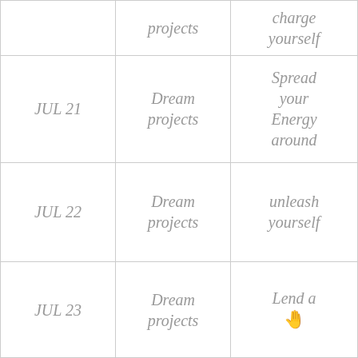| Date | Activity | Advice |
| --- | --- | --- |
|  | projects | charge yourself |
| JUL 21 | Dream projects | Spread your Energy around |
| JUL 22 | Dream projects | unleash yourself |
| JUL 23 | Dream projects | Lend a 🤚 |